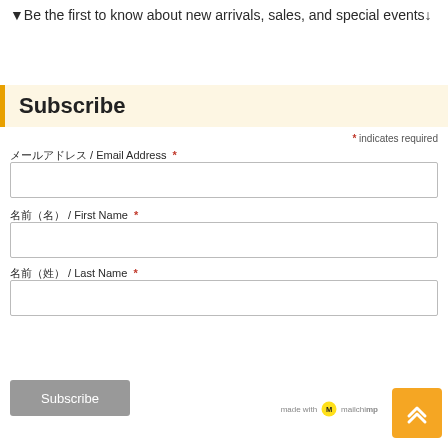▼Be the first to know about new arrivals, sales, and special events↓
Subscribe
* indicates required
メールアドレス / Email Address *
名前（名） / First Name *
名前（姓） / Last Name *
Subscribe
[Figure (logo): Made with Mailchimp logo]